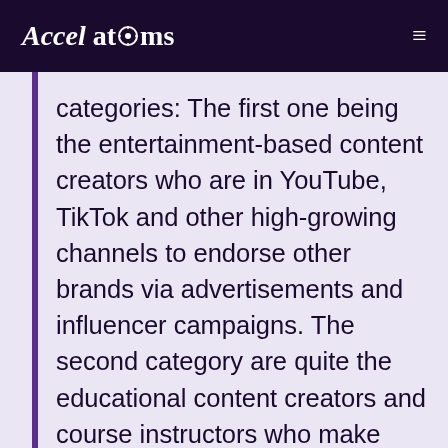Accel atoms
categories: The first one being the entertainment-based content creators who are in YouTube, TikTok and other high-growing channels to endorse other brands via advertisements and influencer campaigns. The second category are quite the educational content creators and course instructors who make simple and easily understandable explainer content for their followers like financial experts, experts in cooking, gaming, singing